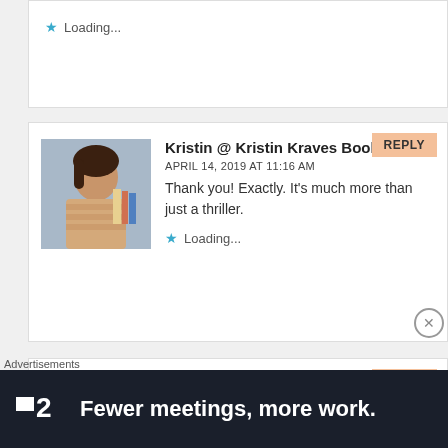Loading...
Kristin @ Kristin Kraves Books says:
APRIL 14, 2019 AT 11:16 AM
Thank you! Exactly. It's much more than just a thriller.
Loading...
Michael says:
APRIL 14, 2019 AT 10:16 AM
Great review! This keeps popping up on my
Advertisements
[Figure (other): Advertisement banner: dark background with '2' logo and text 'Fewer meetings, more work.']